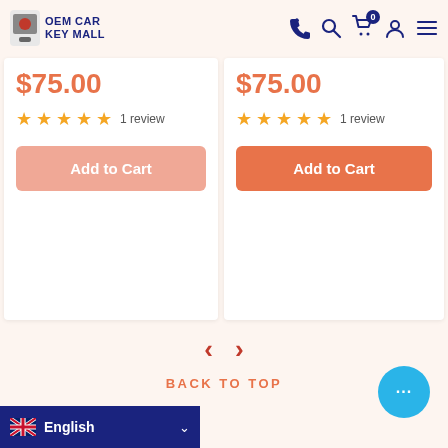OEM CAR KEY MALL
$75.00 — 1 review (left card)
Add to Cart (left card)
$75.00 — 1 review (right card)
Add to Cart (right card)
< > (carousel navigation arrows)
BACK TO TOP
English